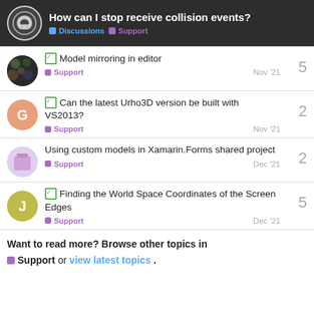How can I stop receive collision events? Discussions Support
Model mirroring in editor — Support — Nov '21 — 5 replies
Can the latest Urho3D version be built with VS2013? — Support — Nov '21 — 2 replies
Using custom models in Xamarin.Forms shared project — Support — Dec '21 — 2 replies
Finding the World Space Coordinates of the Screen Edges — Support — Dec '21 — 5 replies
Want to read more? Browse other topics in Support or view latest topics.